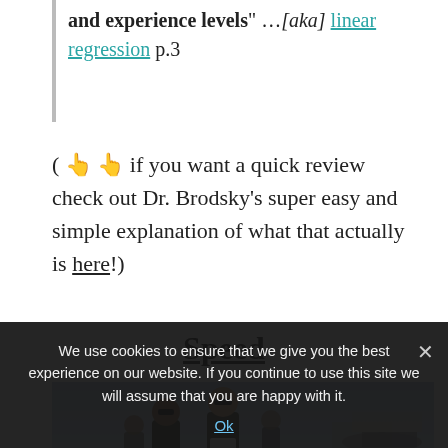and experience levels" …[aka] linear regression p.3
( 👆 👆 if you want a quick review check out Dr. Brodsky's super easy and simple explanation of what that actually is here!)
Speed
[Figure (photo): Two people in pilot/military attire standing on an airfield tarmac with jets in the background, reminiscent of a Top Gun movie scene.]
We use cookies to ensure that we give you the best experience on our website. If you continue to use this site we will assume that you are happy with it.
Ok